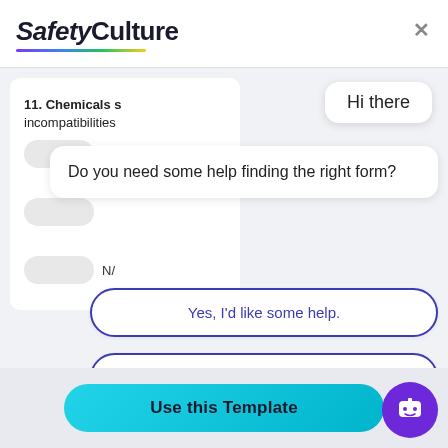[Figure (screenshot): SafetyCulture app logo with colorful underline gradient]
Hi there
Do you need some help finding the right form?
11. Chemicals s incompatibilities
Yes, I'd like some help.
I want to import my own form.
No, I'm good. Thanks!
Use this Template